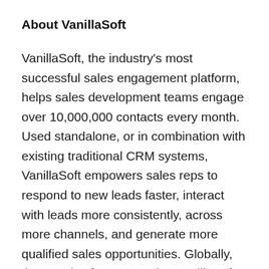About VanillaSoft
VanillaSoft, the industry's most successful sales engagement platform, helps sales development teams engage over 10,000,000 contacts every month. Used standalone, or in combination with existing traditional CRM systems, VanillaSoft empowers sales reps to respond to new leads faster, interact with leads more consistently, across more channels, and generate more qualified sales opportunities. Globally, thousands of users employ VanillaSoft's queue-based sales engine and intellective routing to implement sales cadence automation resulting in substantial gains in